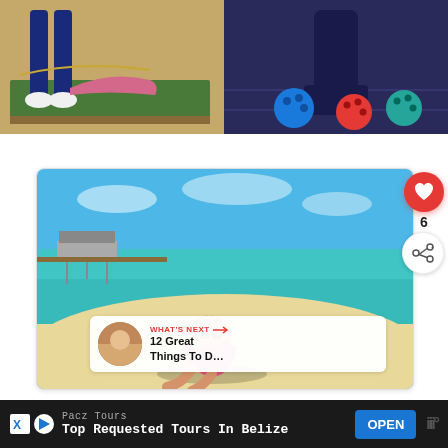[Figure (photo): Two photos side by side: left shows feet/legs near a green mat outdoors on sandy ground; right shows colorful bowling balls in a bowling lane.]
[Figure (photo): Woman sitting on a white sandy beach with turquoise water and overwater bungalows in the background.]
6
WHAT'S NEXT → 12 Great Things To D…
[Figure (photo): Small circular thumbnail of a beach scene.]
Pacz Tours
Top Requested Tours In Belize
OPEN